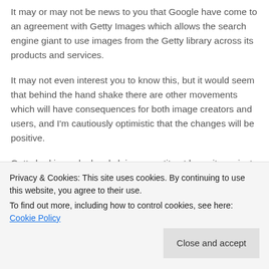It may or may not be news to you that Google have come to an agreement with Getty Images which allows the search engine giant to use images from the Getty library across its products and services.
It may not even interest you to know this, but it would seem that behind the hand shake there are other movements which will have consequences for both image creators and users, and I'm cautiously optimistic that the changes will be positive.
Getty had issued a legal claim, an antitrust lawsuit, against Google because of the way the search engine returned high-resolution images in search results which allowed
Privacy & Cookies: This site uses cookies. By continuing to use this website, you agree to their use.
To find out more, including how to control cookies, see here: Cookie Policy